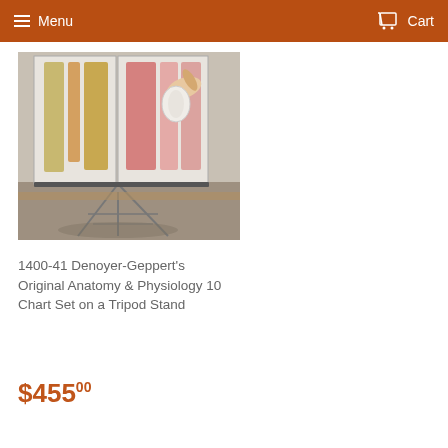Menu  Cart
[Figure (photo): Anatomy and physiology chart set displayed on a tripod stand in a room, showing anatomical charts with a hand peeling back a chart layer]
1400-41 Denoyer-Geppert's Original Anatomy & Physiology 10 Chart Set on a Tripod Stand
$455.00